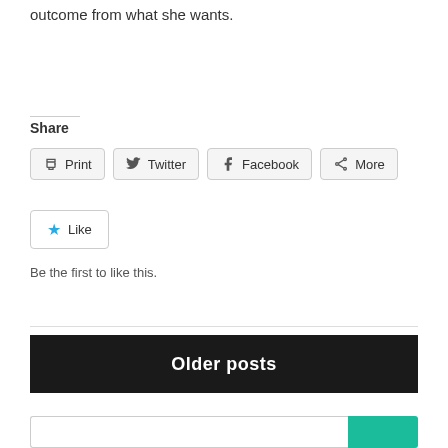outcome from what she wants.
Share
[Figure (screenshot): Row of share buttons: Print, Twitter, Facebook, More]
[Figure (screenshot): Like button with star icon]
Be the first to like this.
Older posts
[Figure (screenshot): Search bar at bottom with teal search button]